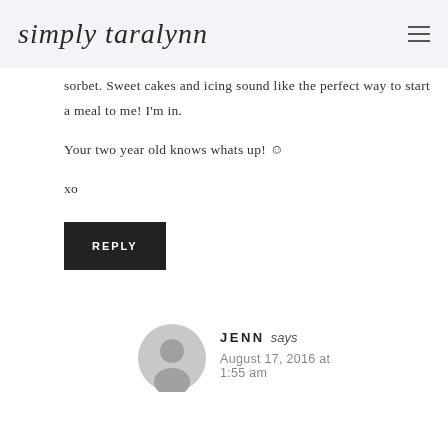simply taralynn
sorbet. Sweet cakes and icing sound like the perfect way to start a meal to me! I'm in.

Your two year old knows whats up! ☺

xo
REPLY
JENN says August 17, 2016 at 1:55 am